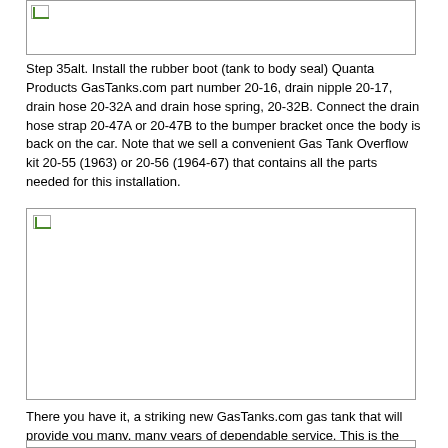[Figure (photo): Top partial image box, cropped photo showing installation content]
Step 35alt.  Install the rubber boot (tank to body seal) Quanta Products GasTanks.com part number 20-16, drain nipple 20-17, drain hose 20-32A and drain hose spring, 20-32B.  Connect the drain hose strap 20-47A or 20-47B to the bumper bracket once the body is back on the car.  Note that we sell a convenient Gas Tank Overflow kit 20-55 (1963) or 20-56 (1964-67) that contains all the parts needed for this installation.
[Figure (photo): Photo of installed gas tank components showing the rubber boot and drain assembly]
There you have it, a striking new GasTanks.com gas tank that will provide you many, many years of dependable service.  This is the only tank with the O.L. Anderson logo as original, stenciled to exactly match your original installation.